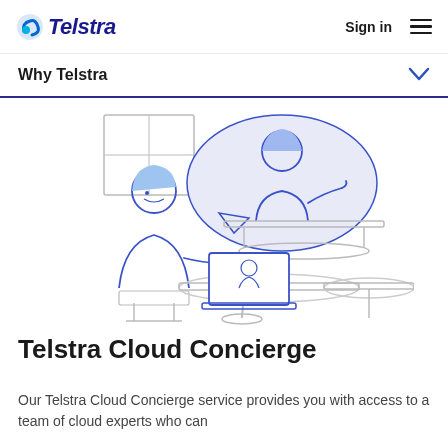Telstra | Sign in
Why Telstra
[Figure (illustration): Line drawing illustration of a person sitting at a desk with a laptop showing a video call, with a speech bubble containing another person (cloud expert) gesturing, set in a home/office environment with a window and desk in background]
Telstra Cloud Concierge
Our Telstra Cloud Concierge service provides you with access to a team of cloud experts who can